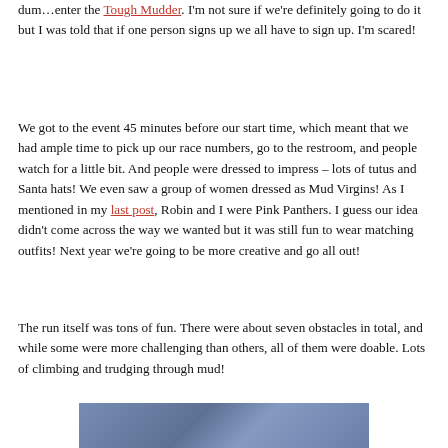dum…enter the Tough Mudder.  I'm not sure if we're definitely going to do it but I was told that if one person signs up we all have to sign up.  I'm scared!
We got to the event 45 minutes before our start time, which meant that we had ample time to pick up our race numbers, go to the restroom, and people watch for a little bit.  And people were dressed to impress – lots of tutus and Santa hats!  We even saw a group of women dressed as Mud Virgins!  As I mentioned in my last post, Robin and I were Pink Panthers.  I guess our idea didn't come across the way we wanted but it was still fun to wear matching outfits!  Next year we're going to be more creative and go all out!
The run itself was tons of fun.  There were about seven obstacles in total, and while some were more challenging than others, all of them were doable.  Lots of climbing and trudging through mud!
[Figure (photo): A photo strip at the bottom of the page showing people at an outdoor muddy event, partially visible]